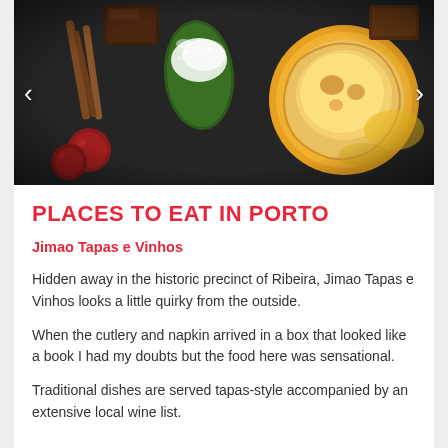[Figure (photo): Food photo showing Portuguese pastries and desserts including what appears to be a pastel de nata, green-dusted items, and berries on a dark slate surface with cinnamon sticks]
PLACES TO EAT IN PORTO
Jimao Tapas e Vinhos
Hidden away in the historic precinct of Ribeira, Jimao Tapas e Vinhos looks a little quirky from the outside.
When the cutlery and napkin arrived in a box that looked like a book I had my doubts but the food here was sensational.
Traditional dishes are served tapas-style accompanied by an extensive local wine list.